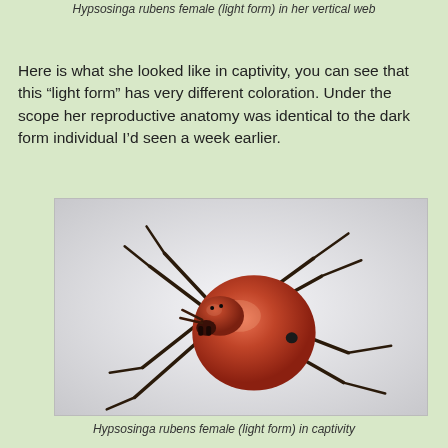Hypsosinga rubens female (light form) in her vertical web
Here is what she looked like in captivity, you can see that this “light form” has very different coloration. Under the scope her reproductive anatomy was identical to the dark form individual I’d seen a week earlier.
[Figure (photo): Close-up photograph of Hypsosinga rubens female (light form) spider in captivity, showing a reddish-orange round abdomen with a small black spot, dark spindly legs, on a white/light grey background.]
Hypsosinga rubens female (light form) in captivity